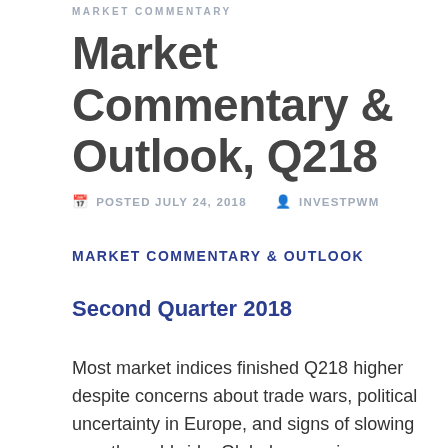MARKET COMMENTARY
Market Commentary & Outlook, Q218
POSTED JULY 24, 2018   INVESTPWM
MARKET COMMENTARY & OUTLOOK
Second Quarter 2018
Most market indices finished Q218 higher despite concerns about trade wars, political uncertainty in Europe, and signs of slowing growth worldwide. Global expansion continued but much more unevenly amongst world economies. After underperforming international stocks during most of 2017 U.S. equities took the lead. With a heavier